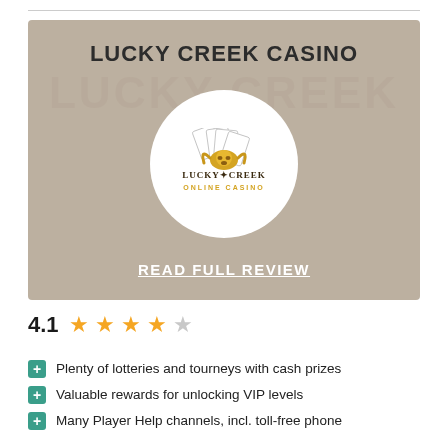[Figure (other): Lucky Creek Casino promotional card with tan/beige background, casino logo in white circle, title LUCKY CREEK CASINO, and READ FULL REVIEW link]
4.1 ★★★★☆
Plenty of lotteries and tourneys with cash prizes
Valuable rewards for unlocking VIP levels
Many Player Help channels, incl. toll-free phone